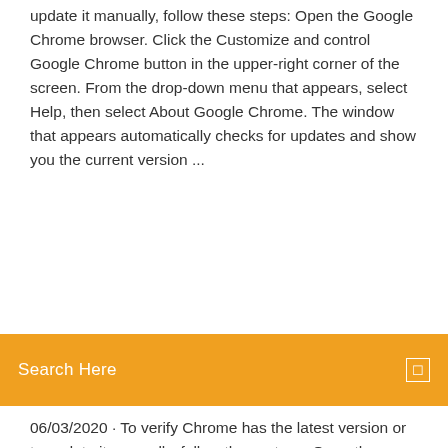update it manually, follow these steps: Open the Google Chrome browser. Click the Customize and control Google Chrome button in the upper-right corner of the screen. From the drop-down menu that appears, select Help, then select About Google Chrome. The window that appears automatically checks for updates and show you the current version ...
Search Here
06/03/2020 · To verify Chrome has the latest version or to update it manually, follow these steps: Open the Google Chrome browser. Click the Customize and control Google Chrome button in the upper-right corner of the screen. From the drop-down menu that appears, select Help, then select About Google Chrome. The window that appears automatically checks for updates and show you the current version … Google Chrome version history - Wikipedia 90 lignes · Google Chrome version history. Jump to navigation Jump to search. This article's tone